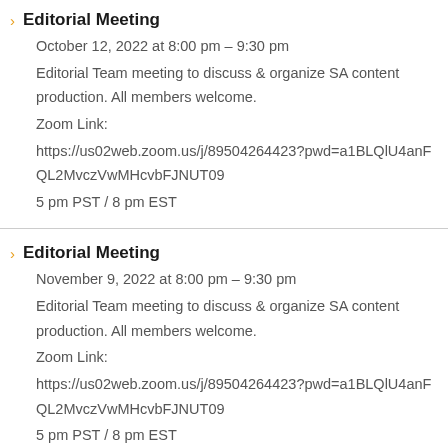Editorial Meeting
October 12, 2022 at 8:00 pm – 9:30 pm
Editorial Team meeting to discuss & organize SA content production. All members welcome.
Zoom Link:
https://us02web.zoom.us/j/89504264423?pwd=a1BLQlU4anFQL2MvczVwMHcvbFJNUT09
5 pm PST / 8 pm EST
Editorial Meeting
November 9, 2022 at 8:00 pm – 9:30 pm
Editorial Team meeting to discuss & organize SA content production. All members welcome.
Zoom Link:
https://us02web.zoom.us/j/89504264423?pwd=a1BLQlU4anFQL2MvczVwMHcvbFJNUT09
5 pm PST / 8 pm EST